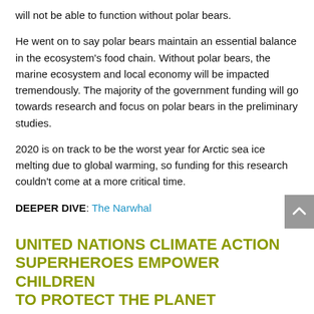will not be able to function without polar bears.
He went on to say polar bears maintain an essential balance in the ecosystem's food chain. Without polar bears, the marine ecosystem and local economy will be impacted tremendously. The majority of the government funding will go towards research and focus on polar bears in the preliminary studies.
2020 is on track to be the worst year for Arctic sea ice melting due to global warming, so funding for this research couldn't come at a more critical time.
DEEPER DIVE: The Narwhal
UNITED NATIONS CLIMATE ACTION SUPERHEROES EMPOWER CHILDREN TO PROTECT THE PLANET
The Climate Action Superheroes are the face of a new